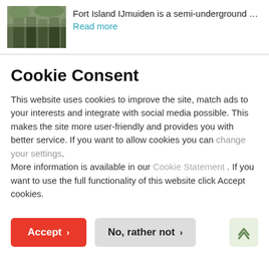[Figure (photo): Thumbnail photo of people standing outdoors, appears to be soldiers or group in field/forest setting]
Fort Island IJmuiden is a semi-underground … Read more
Cookie Consent
This website uses cookies to improve the site, match ads to your interests and integrate with social media possible. This makes the site more user-friendly and provides you with better service. If you want to allow cookies you can change your settings. More information is available in our Cookie Statement . If you want to use the full functionality of this website click Accept cookies.